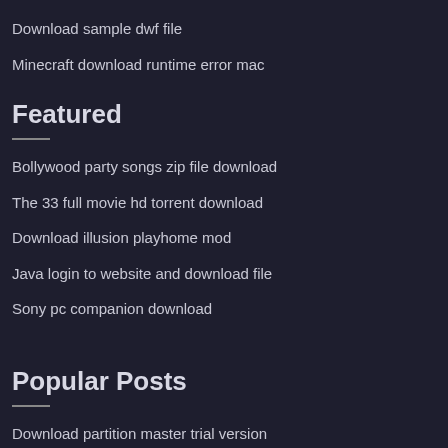Download sample dwf file
Minecraft download runtime error mac
Featured
Bollywood party songs zip file download
The 33 full movie hd torrent download
Download illusion playhome mod
Java login to website and download file
Sony pc companion download
Popular Posts
Download partition master trial version
Age of empire mac torrent download
To download cr file in uc browser